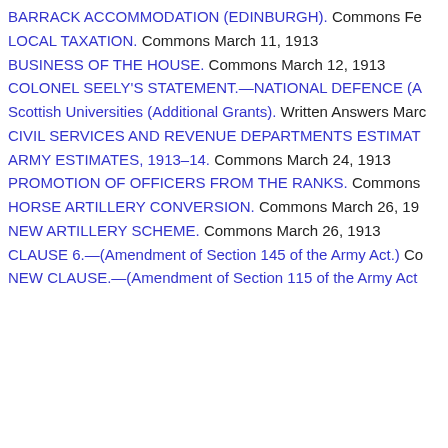BARRACK ACCOMMODATION (EDINBURGH). Commons Fe
LOCAL TAXATION. Commons March 11, 1913
BUSINESS OF THE HOUSE. Commons March 12, 1913
COLONEL SEELY'S STATEMENT.—NATIONAL DEFENCE (A
Scottish Universities (Additional Grants). Written Answers Marc
CIVIL SERVICES AND REVENUE DEPARTMENTS ESTIMAT
ARMY ESTIMATES, 1913–14. Commons March 24, 1913
PROMOTION OF OFFICERS FROM THE RANKS. Commons
HORSE ARTILLERY CONVERSION. Commons March 26, 19
NEW ARTILLERY SCHEME. Commons March 26, 1913
CLAUSE 6.—(Amendment of Section 145 of the Army Act.) Co
NEW CLAUSE.—(Amendment of Section 115 of the Army Act